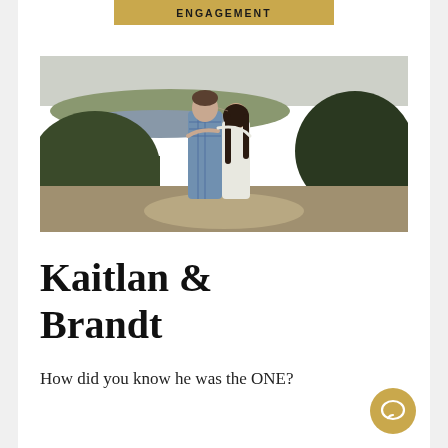ENGAGEMENT
[Figure (photo): Couple embracing on a scenic overlook with river, trees, and hilly landscape in the background. Man in plaid shirt, woman in white dress.]
Kaitlan & Brandt
How did you know he was the ONE?